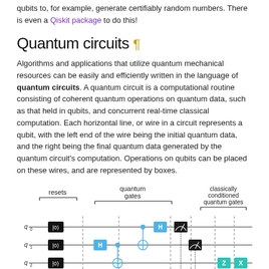qubits to, for example, generate certifiably random numbers. There is even a Qiskit package to do this!
Quantum circuits ¶
Algorithms and applications that utilize quantum mechanical resources can be easily and efficiently written in the language of quantum circuits. A quantum circuit is a computational routine consisting of coherent quantum operations on quantum data, such as that held in qubits, and concurrent real-time classical computation. Each horizontal line, or wire in a circuit represents a qubit, with the left end of the wire being the initial quantum data, and the right being the final quantum data generated by the quantum circuit's computation. Operations on qubits can be placed on these wires, and are represented by boxes.
[Figure (schematic): Quantum circuit diagram showing qubit lines q0, q1, q2, and classical registers z_meas and x. Labels show 'resets', 'quantum gates', and 'classically conditioned quantum gates' sections. Gates include |0> reset boxes, H (Hadamard) gates in blue, CNOT gates, measurement gates (meter symbols), and Z and X gates in teal.]